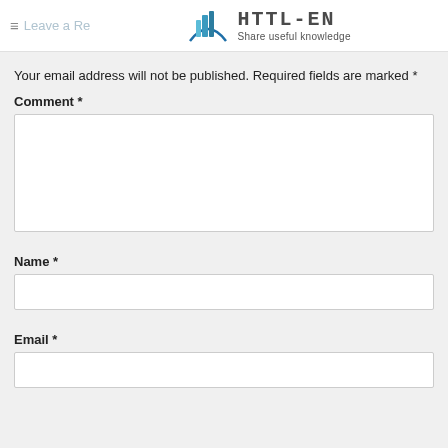≡ Leave a Reply — HTTL-EN Share useful knowledge
Your email address will not be published. Required fields are marked *
Comment *
Name *
Email *